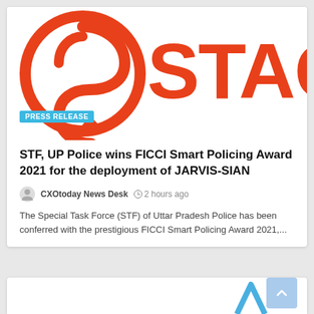[Figure (logo): STAQU company logo — circular red/orange swirl icon on the left and large 'STAQU' text in orange-red on the right, partially cropped]
PRESS RELEASE
STF, UP Police wins FICCI Smart Policing Award 2021 for the deployment of JARVIS-SIAN
CXOtoday News Desk   2 hours ago
The Special Task Force (STF) of Uttar Pradesh Police has been conferred with the prestigious FICCI Smart Policing Award 2021,...